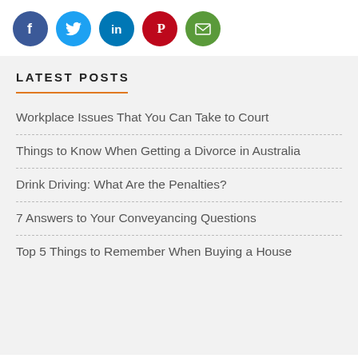[Figure (infographic): Row of five social media sharing icons: Facebook (blue), Twitter (light blue), LinkedIn (blue), Pinterest (red), Email (green)]
LATEST POSTS
Workplace Issues That You Can Take to Court
Things to Know When Getting a Divorce in Australia
Drink Driving: What Are the Penalties?
7 Answers to Your Conveyancing Questions
Top 5 Things to Remember When Buying a House